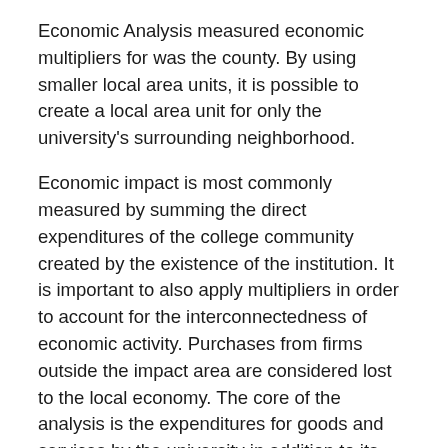Economic Analysis measured economic multipliers for was the county. By using smaller local area units, it is possible to create a local area unit for only the university's surrounding neighborhood.
Economic impact is most commonly measured by summing the direct expenditures of the college community created by the existence of the institution. It is important to also apply multipliers in order to account for the interconnectedness of economic activity. Purchases from firms outside the impact area are considered lost to the local economy. The core of the analysis is the expenditures for goods and services by the university in addition to its payroll (Steinacker 2005). Multipliers for university expenditures take into account the additional spending by local companies resulting from each dollar of university purchase. The multiplier for payroll takes into account the propensity